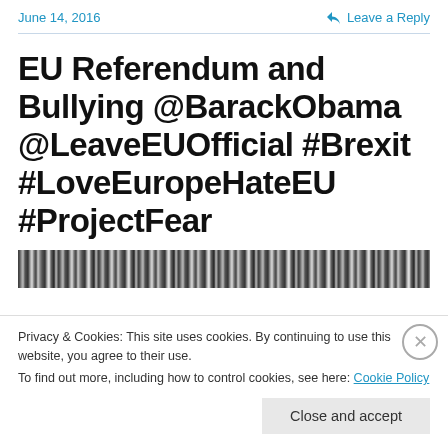June 14, 2016
Leave a Reply
EU Referendum and Bullying @BarackObama @LeaveEUOfficial #Brexit #LoveEuropeHateEU #ProjectFear
[Figure (photo): Dark horizontal striped photo strip]
Privacy & Cookies: This site uses cookies. By continuing to use this website, you agree to their use.
To find out more, including how to control cookies, see here: Cookie Policy